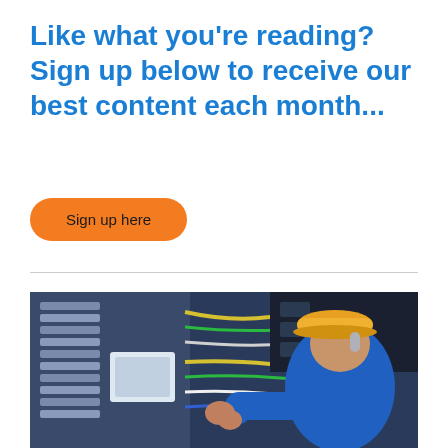Like what you're reading? Sign up below to receive our best content each month...
Sign up here
[Figure (photo): An electrician wearing a yellow hard hat and blue work uniform working on an electrical panel with wires and circuit breakers]